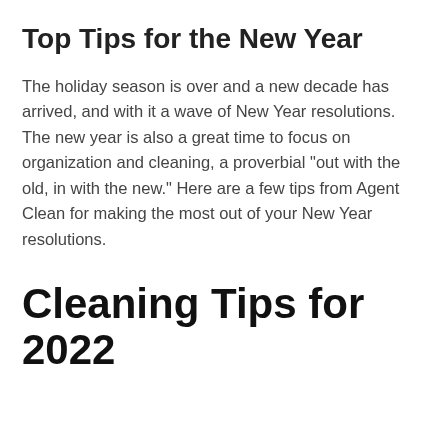Top Tips for the New Year
The holiday season is over and a new decade has arrived, and with it a wave of New Year resolutions. The new year is also a great time to focus on organization and cleaning, a proverbial "out with the old, in with the new." Here are a few tips from Agent Clean for making the most out of your New Year resolutions.
Cleaning Tips for 2022